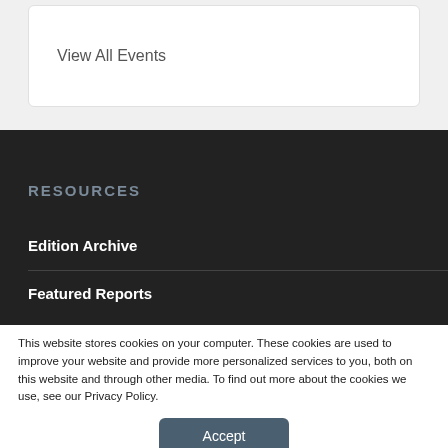View All Events
RESOURCES
Edition Archive
Featured Reports
This website stores cookies on your computer. These cookies are used to improve your website and provide more personalized services to you, both on this website and through other media. To find out more about the cookies we use, see our Privacy Policy.
Accept